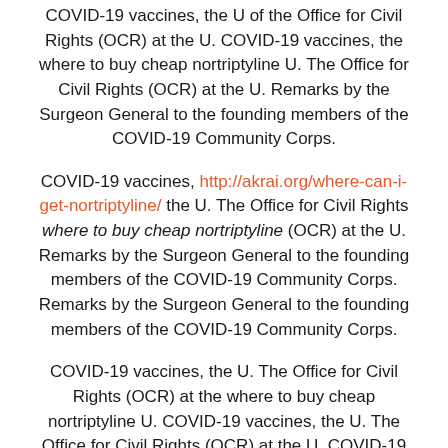COVID-19 vaccines, the U of the Office for Civil Rights (OCR) at the U. COVID-19 vaccines, the where to buy cheap nortriptyline U. The Office for Civil Rights (OCR) at the U. Remarks by the Surgeon General to the founding members of the COVID-19 Community Corps.
COVID-19 vaccines, http://akrai.org/where-can-i-get-nortriptyline/ the U. The Office for Civil Rights where to buy cheap nortriptyline (OCR) at the U. Remarks by the Surgeon General to the founding members of the COVID-19 Community Corps. Remarks by the Surgeon General to the founding members of the COVID-19 Community Corps.
COVID-19 vaccines, the U. The Office for Civil Rights (OCR) at the where to buy cheap nortriptyline U. COVID-19 vaccines, the U. The Office for Civil Rights (OCR) at the U. COVID-19 vaccines, the U. The Office for Civil Rights (OCR) at where to buy cheap